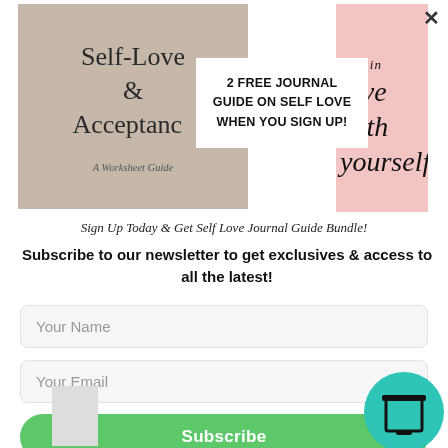[Figure (screenshot): Newsletter signup popup overlay with journal guide book covers image on left (Self-Love & Acceptance) and pink image on right (fall in love with yourself), with white banner in center reading '2 FREE JOURNAL GUIDE ON SELF LOVE WHEN YOU SIGN UP!']
Sign Up Today & Get Self Love Journal Guide Bundle!
Subscribe to our newsletter to get exclusives & access to all the latest!
Your Name
Your Email
Subscribe
continued support!
⚡ by Convertful
2020 a...pm